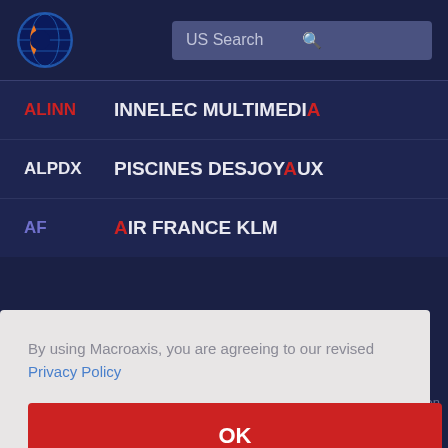[Figure (logo): Macroaxis globe logo — blue/orange circular icon]
US Search
| Ticker | Company |
| --- | --- |
| ALINN | INNELEC MULTIMEDIA |
| ALPDX | PISCINES DESJOYAUX |
| AF | AIR FRANCE KLM |
By using Macroaxis, you are agreeing to our revised Privacy Policy
OK